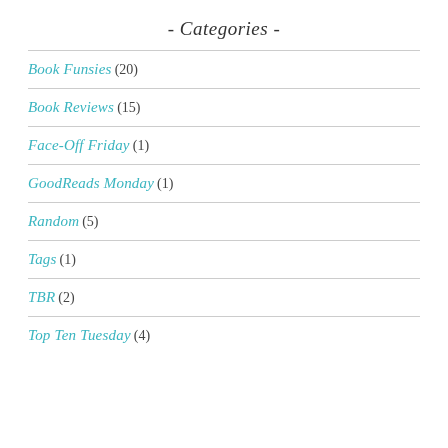- Categories -
Book Funsies (20)
Book Reviews (15)
Face-Off Friday (1)
GoodReads Monday (1)
Random (5)
Tags (1)
TBR (2)
Top Ten Tuesday (4)